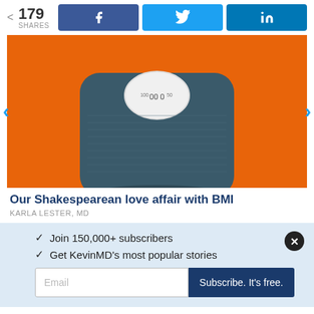< 179 SHARES
[Figure (screenshot): Social share buttons: Facebook (f icon, blue), Twitter (bird icon, light blue), LinkedIn (in icon, dark blue)]
[Figure (photo): A bathroom scale with a dial, on an orange background]
Our Shakespearean love affair with BMI
KARLA LESTER, MD
✓ Join 150,000+ subscribers
✓ Get KevinMD's most popular stories
Email
Subscribe. It's free.